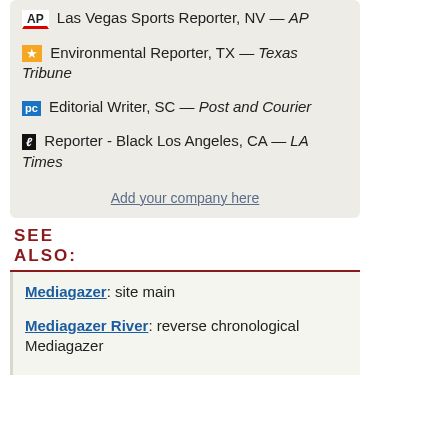Las Vegas Sports Reporter, NV — AP
Environmental Reporter, TX — Texas Tribune
Editorial Writer, SC — Post and Courier
Reporter - Black Los Angeles, CA — LA Times
Add your company here
SEE ALSO:
Mediagazer: site main
Mediagazer River: reverse chronological Mediagazer